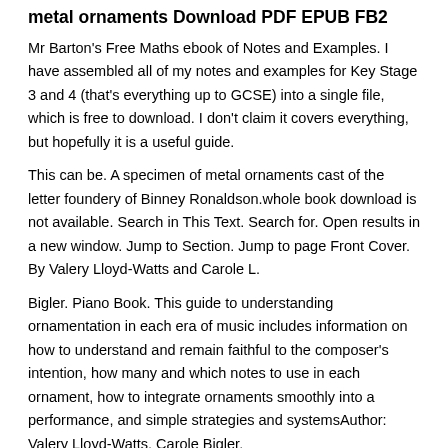metal ornaments Download PDF EPUB FB2
Mr Barton's Free Maths ebook of Notes and Examples. I have assembled all of my notes and examples for Key Stage 3 and 4 (that's everything up to GCSE) into a single file, which is free to download. I don't claim it covers everything, but hopefully it is a useful guide.
This can be. A specimen of metal ornaments cast of the letter foundery of Binney Ronaldson.whole book download is not available. Search in This Text. Search for. Open results in a new window. Jump to Section. Jump to page Front Cover. By Valery Lloyd-Watts and Carole L.
Bigler. Piano Book. This guide to understanding ornamentation in each era of music includes information on how to understand and remain faithful to the composer's intention, how many and which notes to use in each ornament, how to integrate ornaments smoothly into a performance, and simple strategies and systemsAuthor: Valery Lloyd-Watts, Carole Bigler.